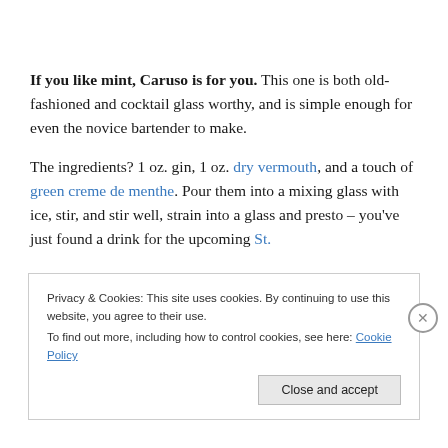If you like mint, Caruso is for you. This one is both old-fashioned and cocktail glass worthy, and is simple enough for even the novice bartender to make.

The ingredients? 1 oz. gin, 1 oz. dry vermouth, and a touch of green creme de menthe. Pour them into a mixing glass with ice, stir, and stir well, strain into a glass and presto – you've just found a drink for the upcoming St.
Privacy & Cookies: This site uses cookies. By continuing to use this website, you agree to their use.
To find out more, including how to control cookies, see here: Cookie Policy